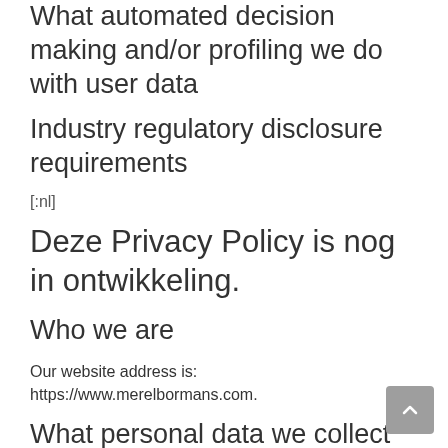What automated decision making and/or profiling we do with user data
Industry regulatory disclosure requirements
[:nl]
Deze Privacy Policy is nog in ontwikkeling.
Who we are
Our website address is: https://www.merelbormans.com.
What personal data we collect and why we collect it